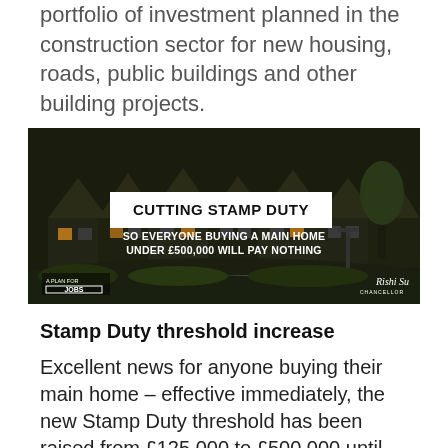portfolio of investment planned in the construction sector for new housing, roads, public buildings and other building projects.
[Figure (photo): Photograph of Victorian terraced houses on a curved road at dusk. Overlaid text reads: 'CUTTING STAMP DUTY SO EVERYONE BUYING A MAIN HOME UNDER £500,000 WILL PAY NOTHING'. Bottom left: 'A PLAN FOR JOBS'. Bottom right: signature and 'CHANCELLOR'.]
Stamp Duty threshold increase
Excellent news for anyone buying their main home – effective immediately, the new Stamp Duty threshold has been raised from £125,000 to £500,000 until March